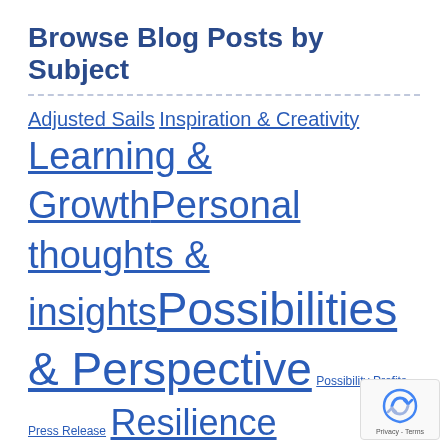Browse Blog Posts by Subject
Adjusted Sails  Inspiration & Creativity  Learning & Growth  Personal thoughts & insights  Possibilities & Perspective  Possibility Profits  Press Release  Resilience  Success & Significance  Winds of Change
Search our website